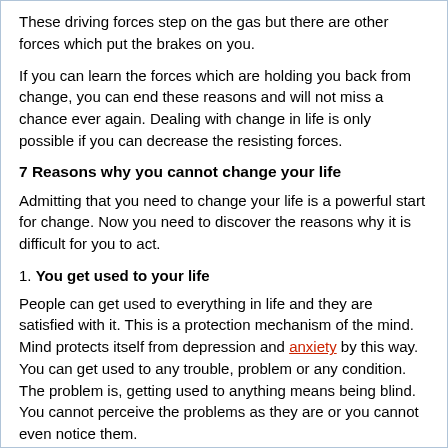These driving forces step on the gas but there are other forces which put the brakes on you.
If you can learn the forces which are holding you back from change, you can end these reasons and will not miss a chance ever again. Dealing with change in life is only possible if you can decrease the resisting forces.
7 Reasons why you cannot change your life
Admitting that you need to change your life is a powerful start for change. Now you need to discover the reasons why it is difficult for you to act.
1. You get used to your life
People can get used to everything in life and they are satisfied with it. This is a protection mechanism of the mind. Mind protects itself from depression and anxiety by this way. You can get used to any trouble, problem or any condition. The problem is, getting used to anything means being blind. You cannot perceive the problems as they are or you cannot even notice them.
2. Justify Your Life
Getting used to your life offers you a strong ability to justify your life. You can justify any problem and you cannot say “I need to change my life” anymore. All the problems fade away with your justification